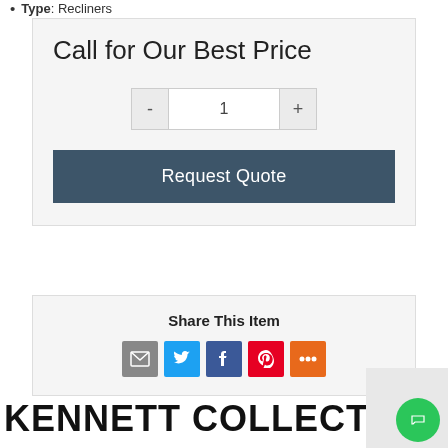Type: Recliners
Call for Our Best Price
- 1 +
Request Quote
Share This Item
[Figure (infographic): Social share icons: email (grey), Twitter (blue), Facebook (blue), Pinterest (red), More (orange)]
KENNETT COLLECTION